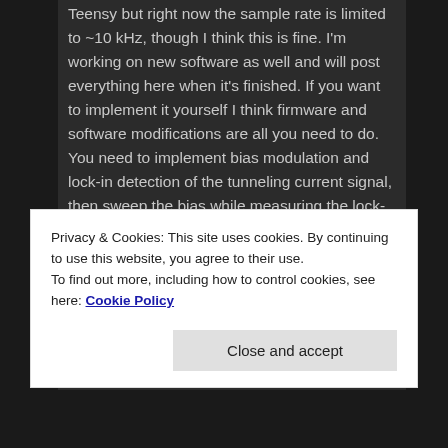Teensy but right now the sample rate is limited to ~10 kHz, though I think this is fine. I'm working on new software as well and will post everything here when it's finished. If you want to implement it yourself I think firmware and software modifications are all you need to do. You need to implement bias modulation and lock-in detection of the tunneling current signal, then sweep the bias while measuring the lock-in output to get the dI/dV spectra.
Cheers,
Privacy & Cookies: This site uses cookies. By continuing to use this website, you agree to their use.
To find out more, including how to control cookies, see here: Cookie Policy